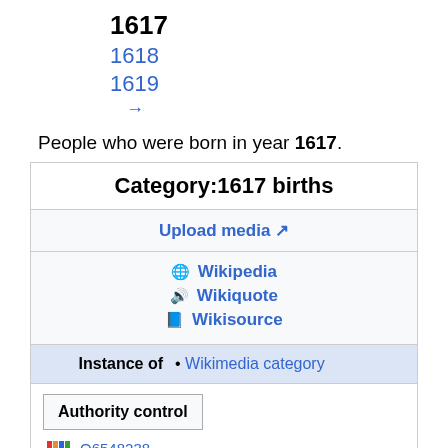1617
1618
1619
→
People who were born in year 1617.
| Category:1617 births |
| Upload media ↗ |
| Wikipedia | Wikiquote | Wikisource |
| Instance of | Wikimedia category |
| Authority control |
| Q6548238 |